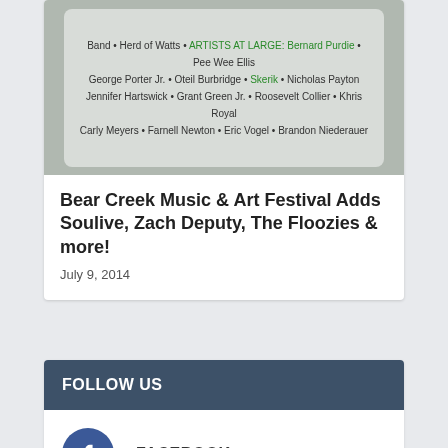[Figure (photo): Festival lineup poster showing artist names including: Band, Herd of Watts, ARTISTS AT LARGE: Bernard Purdie, Pee Wee Ellis, George Porter Jr., Oteil Burbridge, Skerik, Nicholas Payton, Jennifer Hartswick, Grant Green Jr., Roosevelt Collier, Khris Royal, Carly Meyers, Farnell Newton, Eric Vogel, Brandon Niederauer]
Bear Creek Music & Art Festival Adds Soulive, Zach Deputy, The Floozies & more!
July 9, 2014
FOLLOW US
FACEBOOK
YOUTUBE